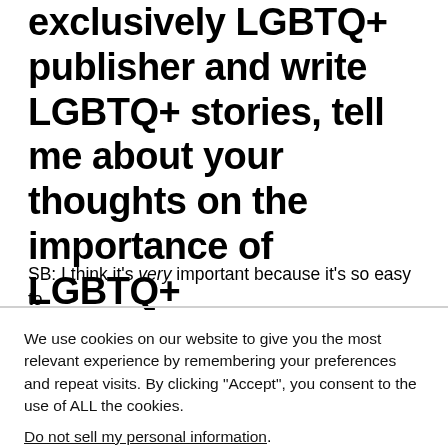exclusively LGBTQ+ publisher and write LGBTQ+ stories, tell me about your thoughts on the importance of LGBTQ+ representation, especially in romance.
SB: I think it's very important because it's so easy to
We use cookies on our website to give you the most relevant experience by remembering your preferences and repeat visits. By clicking "Accept", you consent to the use of ALL the cookies.
Do not sell my personal information.